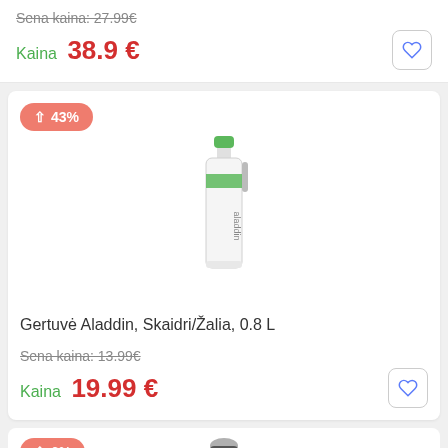Sena kaina: 27.99€
Kaina  38.9 €
[Figure (illustration): Product card with 43% price increase badge and Aladdin water bottle (clear/green, 0.8L)]
Gertuvė Aladdin, Skaidri/Žalia, 0.8 L
Sena kaina: 13.99€
Kaina  19.99 €
[Figure (illustration): Partial product card with 6% badge and dark thermos bottle (partially visible)]